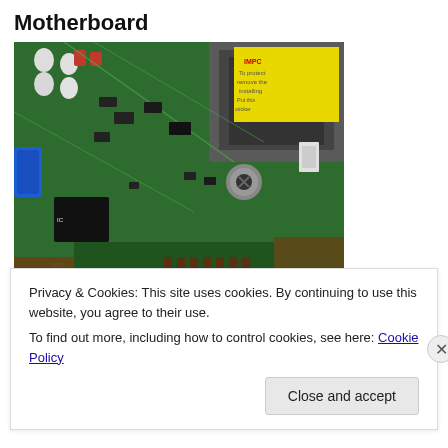Motherboard
[Figure (photo): Close-up photograph of a green computer motherboard showing electronic components including capacitors, resistors, chips, and CPU socket area. A yellow warning sticker is visible in the upper right corner. A blue component is visible on the left side.]
Circuit City
Privacy & Cookies: This site uses cookies. By continuing to use this website, you agree to their use.
To find out more, including how to control cookies, see here: Cookie Policy